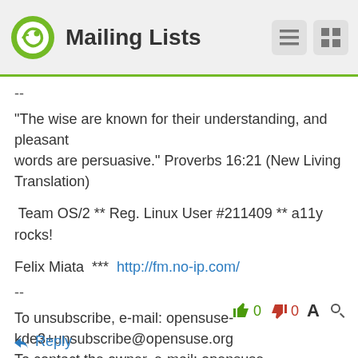Mailing Lists
--
"The wise are known for their understanding, and pleasant
words are persuasive." Proverbs 16:21 (New Living Translation)
Team OS/2 ** Reg. Linux User #211409 ** a11y rocks!
Felix Miata  ***  http://fm.no-ip.com/
--
To unsubscribe, e-mail: opensuse-kde3+unsubscribe@opensuse.org
To contact the owner, e-mail: opensuse-kde3+owner@opensuse.org